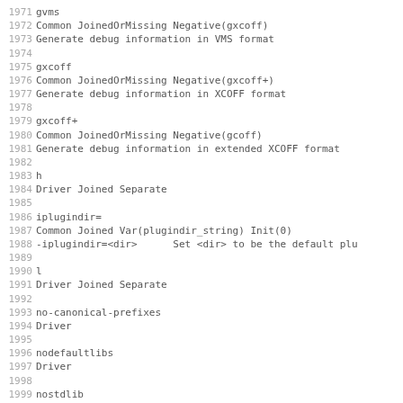1971 gvms
1972 Common JoinedOrMissing Negative(gxcoff)
1973 Generate debug information in VMS format
1974
1975 gxcoff
1976 Common JoinedOrMissing Negative(gxcoff+)
1977 Generate debug information in XCOFF format
1978
1979 gxcoff+
1980 Common JoinedOrMissing Negative(gcoff)
1981 Generate debug information in extended XCOFF format
1982
1983 h
1984 Driver Joined Separate
1985
1986 iplugindir=
1987 Common Joined Var(plugindir_string) Init(0)
1988 -iplugindir=<dir>      Set <dir> to be the default plu
1989
1990 l
1991 Driver Joined Separate
1992
1993 no-canonical-prefixes
1994 Driver
1995
1996 nodefaultlibs
1997 Driver
1998
1999 nostdlib
2000 Driver
2001
2002 o